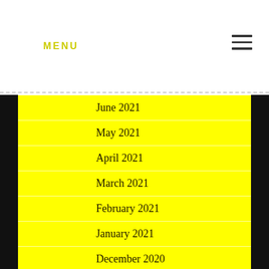MENU
June 2021
May 2021
April 2021
March 2021
February 2021
January 2021
December 2020
November 2020
October 2020